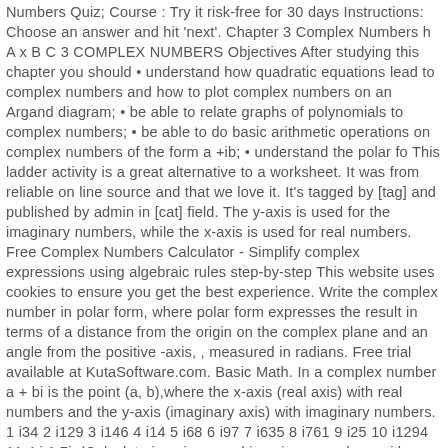Numbers Quiz; Course : Try it risk-free for 30 days Instructions: Choose an answer and hit 'next'. Chapter 3 Complex Numbers h A x B C 3 COMPLEX NUMBERS Objectives After studying this chapter you should • understand how quadratic equations lead to complex numbers and how to plot complex numbers on an Argand diagram; • be able to relate graphs of polynomials to complex numbers; • be able to do basic arithmetic operations on complex numbers of the form a +ib; • understand the polar fo This ladder activity is a great alternative to a worksheet. It was from reliable on line source and that we love it. It's tagged by [tag] and published by admin in [cat] field. The y-axis is used for the imaginary numbers, while the x-axis is used for real numbers. Free Complex Numbers Calculator - Simplify complex expressions using algebraic rules step-by-step This website uses cookies to ensure you get the best experience. Write the complex number in polar form, where polar form expresses the result in terms of a distance from the origin on the complex plane and an angle from the positive -axis, , measured in radians. Free trial available at KutaSoftware.com. Basic Math. In a complex number a + bi is the point (a, b),where the x-axis (real axis) with real numbers and the y-axis (imaginary axis) with imaginary numbers. 1 i34 2 i129 3 i146 4 i14 5 i68 6 i97 7 i635 8 i761 9 i25 10 i1294 11 4 i 1 7i. (Calculate imaginary and imaginary numbers with imaginary numbers...